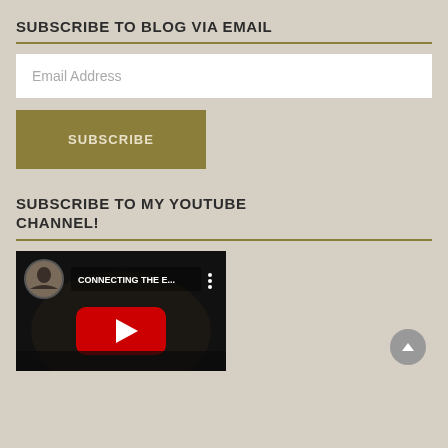SUBSCRIBE TO BLOG VIA EMAIL
Email Address
SUBSCRIBE
SUBSCRIBE TO MY YOUTUBE CHANNEL!
[Figure (screenshot): YouTube video thumbnail showing 'CONNECTING THE E...' with a person in the background, red YouTube play button, and a circular profile picture of a woman in the top left corner.]